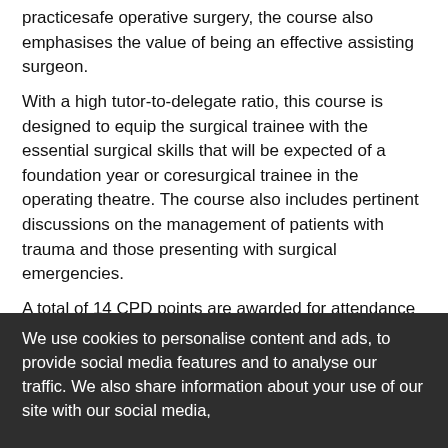practicesafe operative surgery, the course also emphasises the value of being an effective assisting surgeon.
With a high tutor-to-delegate ratio, this course is designed to equip the surgical trainee with the essential surgical skills that will be expected of a foundation year or coresurgical trainee in the operating theatre. The course also includes pertinent discussions on the management of patients with trauma and those presenting with surgical emergencies.
A total of 14 CPD points are awarded for attendance in this course
A formal assessment will be carried out for award of Certification of Completion of the Course.
Topics Covered
Aseptic Precautions in the Operating Theatre.
Scrubbing and Handwashing Technique.
We use cookies to personalise content and ads, to provide social media features and to analyse our traffic. We also share information about your use of our site with our social media,